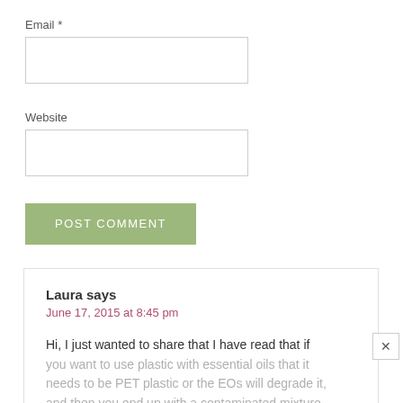Email *
[Figure (other): Empty email input text box]
Website
[Figure (other): Empty website input text box]
POST COMMENT
Laura says
June 17, 2015 at 8:45 pm
Hi, I just wanted to share that I have read that if you want to use plastic with essential oils that it needs to be PET plastic or the EOs will degrade it, and then you end up with a contaminated mixture